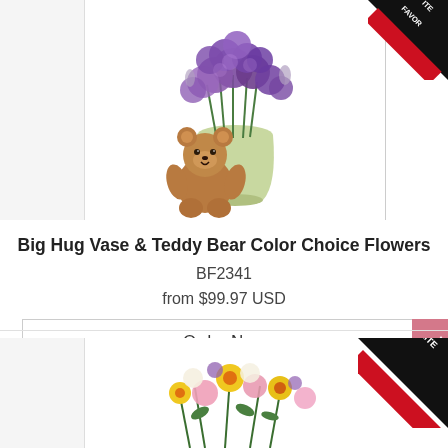[Figure (photo): Purple carnations in a green vase with a small brown teddy bear, with a FAVORITE ribbon badge in top-right corner]
Big Hug Vase & Teddy Bear Color Choice Flowers
BF2341
from $99.97 USD
Order Now
[Figure (photo): Mixed flower bouquet with yellow, pink, and white flowers including alstroemeria, with a FAVORITE ribbon badge in top-right corner]